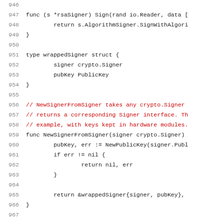[Figure (screenshot): Source code listing in Go language, lines 946–967, showing rsaSigner Sign method, wrappedSigner struct definition, and NewSignerFromSigner function with comments in red and code in dark color.]